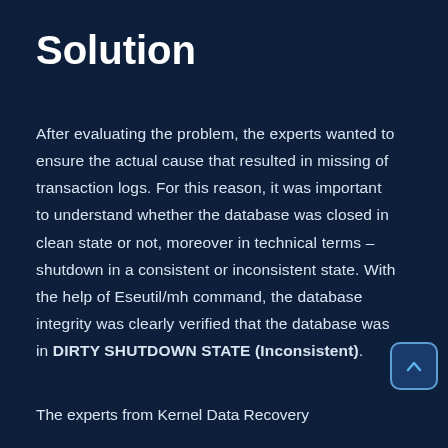Solution
After evaluating the problem, the experts wanted to ensure the actual cause that resulted in missing of transaction logs. For this reason, it was important to understand whether the database was closed in clean state or not, moreover in technical terms – shutdown in a consistent or inconsistent state. With the help of Eseutil/mh command, the database integrity was clearly verified that the database was in DIRTY SHUTDOWN STATE (Inconsistent).
The experts from Kernel Data Recovery